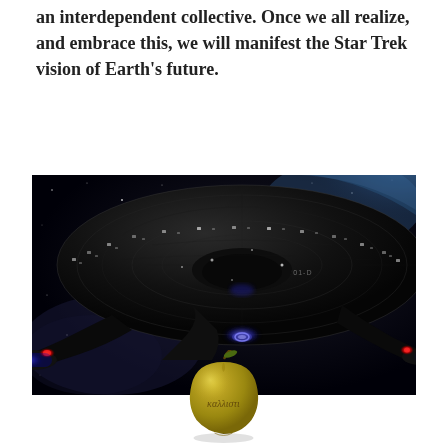an interdependent collective. Once we all realize, and embrace this, we will manifest the Star Trek vision of Earth's future.
[Figure (photo): Star Trek starship Enterprise viewed from below against a space backdrop with Earth's atmosphere visible, warp nacelles glowing blue]
[Figure (photo): Golden apple with Greek text 'καλλιστι' (kallisti) inscribed on it — the Apple of Discord from Greek mythology/Discordianism]